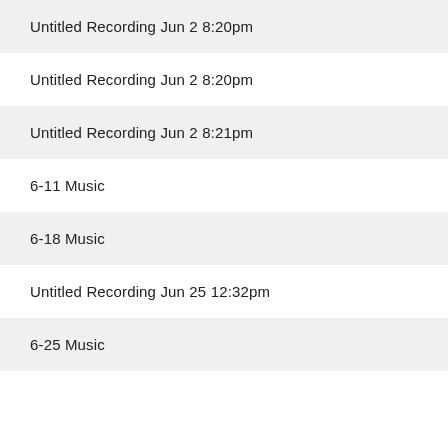Untitled Recording Jun 2 8:20pm
Untitled Recording Jun 2 8:20pm
Untitled Recording Jun 2 8:21pm
6-11 Music
6-18 Music
Untitled Recording Jun 25 12:32pm
6-25 Music